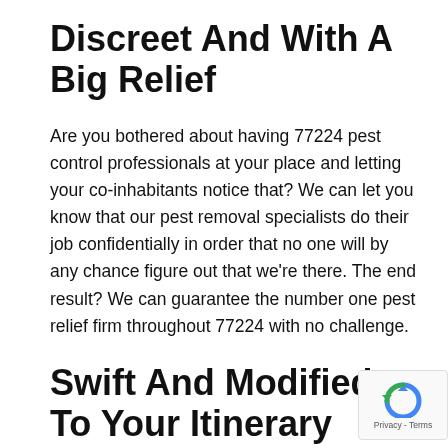Discreet And With A Big Relief
Are you bothered about having 77224 pest control professionals at your place and letting your co-inhabitants notice that? We can let you know that our pest removal specialists do their job confidentially in order that no one will by any chance figure out that we’re there. The end result? We can guarantee the number one pest relief firm throughout 77224 with no challenge.
Swift And Modified To Your Itinerary
We are familiar with the fact that most pest relief firms around 77224 will seek to trick you to start